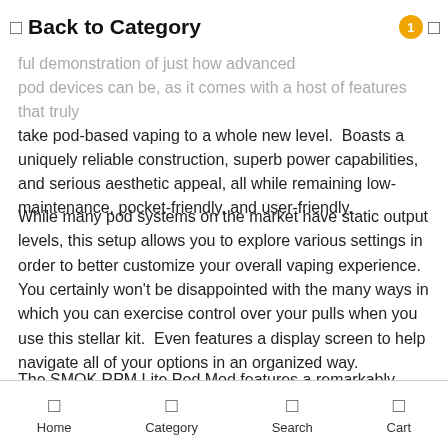Back to Category
hardware brands in the vaping industry for the past several years powerful demonstration of just how advanced pod devices can be, as it comes with a host of features that truly take pod-based vaping to a whole new level. Boasts a uniquely reliable construction, superb power capabilities, and serious aesthetic appeal, all while remaining low-maintenance, pocket-friendly, and user-friendly.
While many pod systems on the market have static output levels, this setup allows you to explore various settings in order to better customize your overall vaping experience. You certainly won't be disappointed with the many ways in which you can exercise control over your pulls when you use this stellar kit. Even features a display screen to help navigate all of your options in an organized way.
The SMOK RPM Lite Pod Mod features a remarkably sleek and
Home  Category  Search  Cart